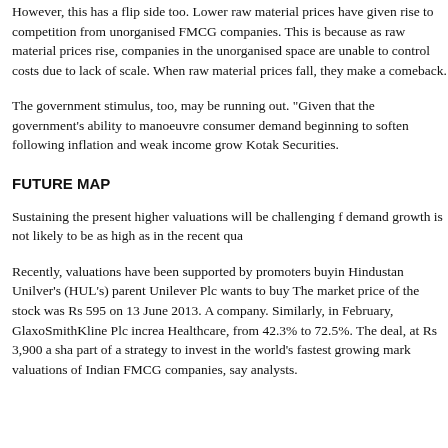However, this has a flip side too. Lower raw material prices have given rise to competition from unorganised FMCG companies. This is because as raw material prices rise, companies in the unorganised space are unable to control costs due to lack of scale. When raw material prices fall, they make a comeback.
The government stimulus, too, may be running out. "Given that the government's ability to manoeuvre consumer demand beginning to soften following inflation and weak income growth Kotak Securities.
FUTURE MAP
Sustaining the present higher valuations will be challenging for demand growth is not likely to be as high as in the recent quarters.
Recently, valuations have been supported by promoters buying Hindustan Unilver's (HUL's) parent Unilever Plc wants to buy. The market price of the stock was Rs 595 on 13 June 2013. A company. Similarly, in February, GlaxoSmithKline Plc increased Healthcare, from 42.3% to 72.5%. The deal, at Rs 3,900 a share part of a strategy to invest in the world's fastest growing markets valuations of Indian FMCG companies, say analysts.